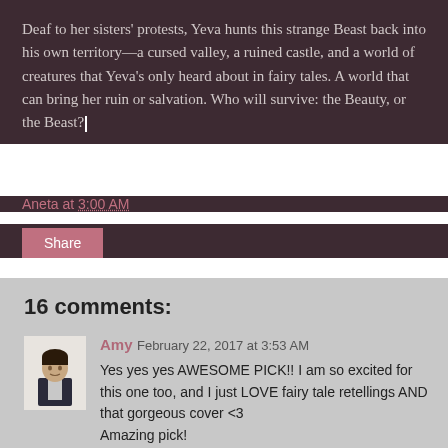Deaf to her sisters' protests, Yeva hunts this strange Beast back into his own territory—a cursed valley, a ruined castle, and a world of creatures that Yeva's only heard about in fairy tales. A world that can bring her ruin or salvation. Who will survive: the Beauty, or the Beast?
Aneta at 3:00 AM
Share
16 comments:
[Figure (photo): Small avatar photo of a person in dark jacket against white background]
Amy February 22, 2017 at 3:53 AM
Yes yes yes AWESOME PICK!! I am so excited for this one too, and I just LOVE fairy tale retellings AND that gorgeous cover <3
Amazing pick!

Here's my WoW

Amy @ A Magical World Of Words